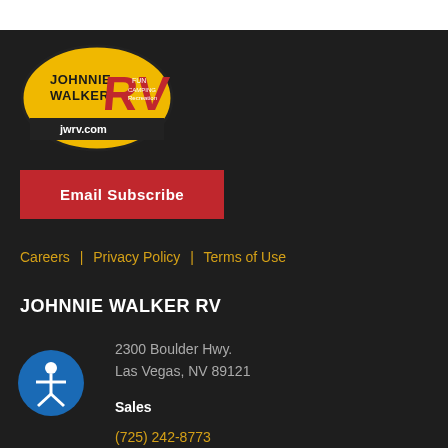[Figure (logo): Johnnie Walker RV logo — yellow oval with JOHNNIE WALKER text and large red RV letters, jwrv.com shown below]
Email Subscribe
Careers | Privacy Policy | Terms of Use
JOHNNIE WALKER RV
2300 Boulder Hwy.
Las Vegas, NV 89121
Sales
(725) 242-8773